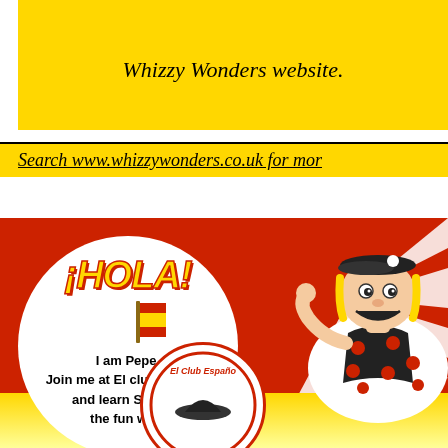Whizzy Wonders website.
Search www.whizzywonders.co.uk for mor
[Figure (illustration): Cartoon character Pepe wearing a black beret and red polka-dot outfit, holding a Spanish flag, with a speech bubble saying ¡HOLA! and text 'I am Pepe. Join me at El club Español and learn Spanish the fun way!'. Red background with white rays. El Club Español logo circle partially visible at bottom.]